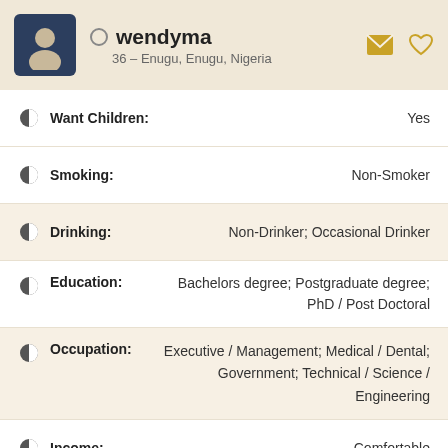wendyma — 36 – Enugu, Enugu, Nigeria
Want Children: Yes
Smoking: Non-Smoker
Drinking: Non-Drinker; Occasional Drinker
Education: Bachelors degree; Postgraduate degree; PhD / Post Doctoral
Occupation: Executive / Management; Medical / Dental; Government; Technical / Science / Engineering
Income: Comfortable
Not important at all   Slightly important